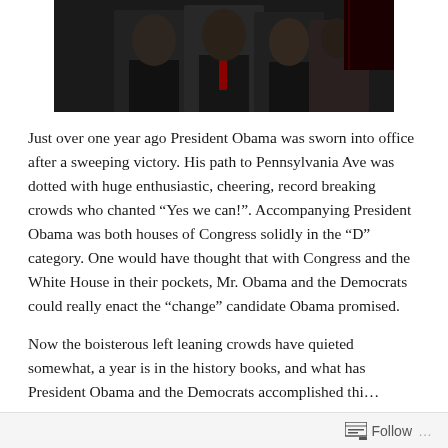[Figure (photo): Group of people in formal/business attire, dark suits, at what appears to be an official event. Partial view showing upper bodies, cropped at top.]
Just over one year ago President Obama was sworn into office after a sweeping victory. His path to Pennsylvania Ave was dotted with huge enthusiastic, cheering, record breaking crowds who chanted “Yes we can!”. Accompanying President Obama was both houses of Congress solidly in the “D” category. One would have thought that with Congress and the White House in their pockets, Mr. Obama and the Democrats could really enact the “change” candidate Obama promised.
Now the boisterous left leaning crowds have quieted somewhat, a year is in the history books, and what has President Obama and the Democrats accomplished thi…
Follow